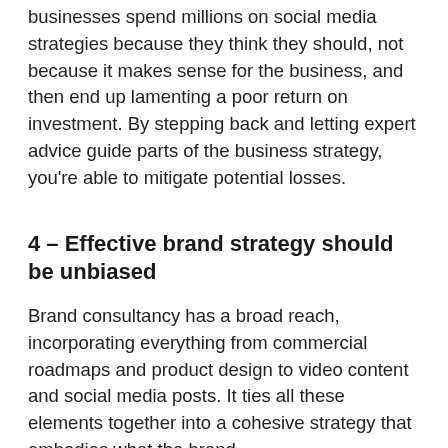businesses spend millions on social media strategies because they think they should, not because it makes sense for the business, and then end up lamenting a poor return on investment. By stepping back and letting expert advice guide parts of the business strategy, you're able to mitigate potential losses.
4 – Effective brand strategy should be unbiased
Brand consultancy has a broad reach, incorporating everything from commercial roadmaps and product design to video content and social media posts. It ties all these elements together into a cohesive strategy that embodies what the brand